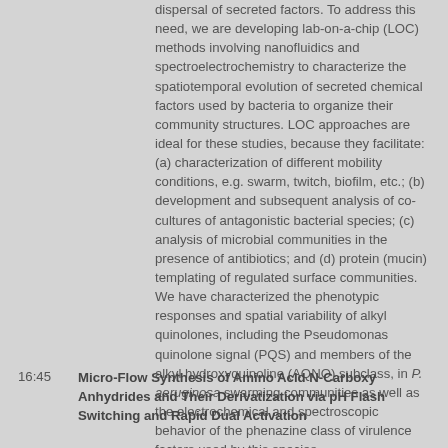dispersal of secreted factors. To address this need, we are developing lab-on-a-chip (LOC) methods involving nanofluidics and spectroelectrochemistry to characterize the spatiotemporal evolution of secreted chemical factors used by bacteria to organize their community structures. LOC approaches are ideal for these studies, because they facilitate: (a) characterization of different mobility conditions, e.g. swarm, twitch, biofilm, etc.; (b) development and subsequent analysis of co-cultures of antagonistic bacterial species; (c) analysis of microbial communities in the presence of antibiotics; and (d) protein (mucin) templating of regulated surface communities. We have characterized the phenotypic responses and spatial variability of alkyl quinolones, including the Pseudomonas quinolone signal (PQS) and members of the alkyl hydroxyquinoline (AQNO) subclass, in P. aeruginosa swarming communities as well as the electrochemical and spectroscopic behavior of the phenazine class of virulence factors used by this species.
16:45
Micro-Flow Synthesis of Amino Acid N-Carboxy Anhydrides and Their Derivatization via pH Flash Switching and Rapid Dual Activation